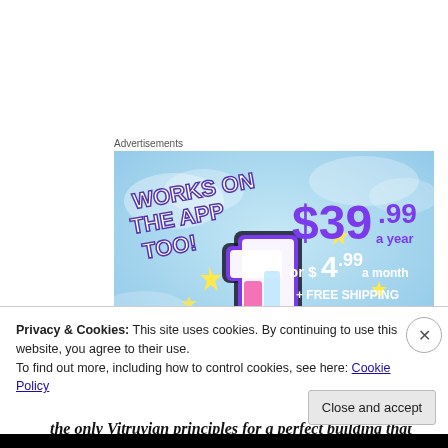Advertisements
[Figure (illustration): Advertisement banner with light blue sky background. Left side shows 'WORKS ON THE APP TOO!' in white bold text with yellow sparkle stars and a stylized purple/pink/white app icon with a plus symbol. Right side shows pricing: '$39.99 a year' in large purple text, 'or $4.99 a month' in white text, and '+ FREE SHIPPING' in white text.]
As the tour continues, I have accepted the fact that
the only Vitruvian principles for a perfect building that
Privacy & Cookies: This site uses cookies. By continuing to use this website, you agree to their use.
To find out more, including how to control cookies, see here: Cookie Policy
Close and accept